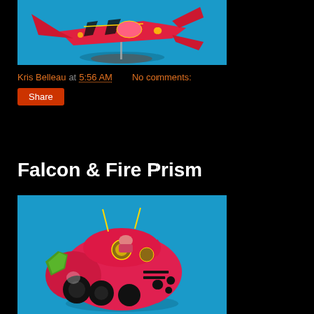[Figure (photo): Red/pink alien spacecraft miniature with black accents and claws, displayed on a clear stand against a blue background]
Kris Belleau at 5:56 AM    No comments:
Share
Falcon & Fire Prism
[Figure (photo): Red/pink sci-fi tank or hovercraft miniature with green gem details and antenna, on blue background]